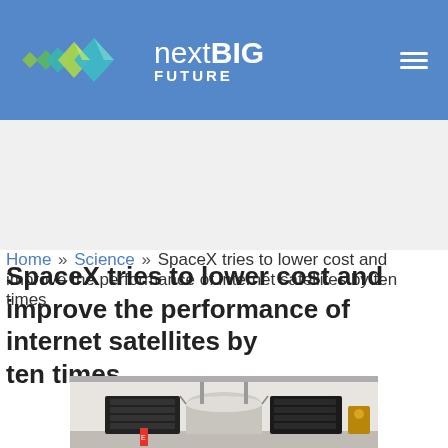[Figure (logo): nextBIG FUTURE website logo with geometric arrow shapes in green and teal, and a hamburger menu icon]
Home » Science » SpaceX tries to lower cost and improve the performance of internet satellites by ten times
SpaceX tries to lower cost and improve the performance of internet satellites by ten times
[Figure (photo): Photo of SpaceX Starlink internet satellite hardware in a facility, showing a large cylindrical component with antenna arrays on either side]